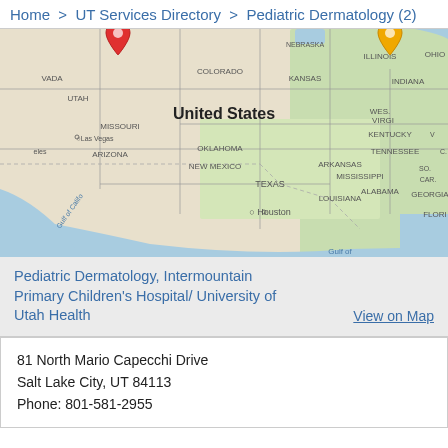Home  >  UT Services Directory  >  Pediatric Dermatology (2)
[Figure (map): Google Maps view of the United States showing state borders and labels including Nebraska, Iowa, Illinois, Ohio, Indiana, Colorado, Kansas, Missouri, Kentucky, Tennessee, Arkansas, Mississippi, Alabama, Georgia, Oklahoma, New Mexico, Texas, Louisiana, Florida, Utah, Arizona, Nevada, Las Vegas, Houston. Two map pins visible: a red pin over Utah/Idaho area and an orange/yellow pin over Illinois/Indiana area.]
Pediatric Dermatology, Intermountain Primary Children's Hospital/ University of Utah Health
View on Map
81 North Mario Capecchi Drive
Salt Lake City, UT 84113
Phone: 801-581-2955